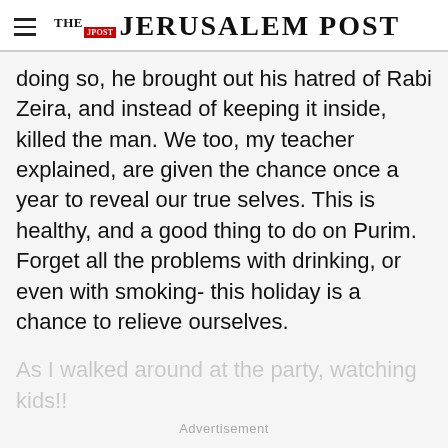THE JERUSALEM POST
doing so, he brought out his hatred of Rabi Zeira, and instead of keeping it inside, killed the man. We too, my teacher explained, are given the chance once a year to reveal our true selves. This is healthy, and a good thing to do on Purim. Forget all the problems with drinking, or even with smoking- this holiday is a chance to relieve ourselves.
As I walked around at the party, watching kids!!
Advertisement